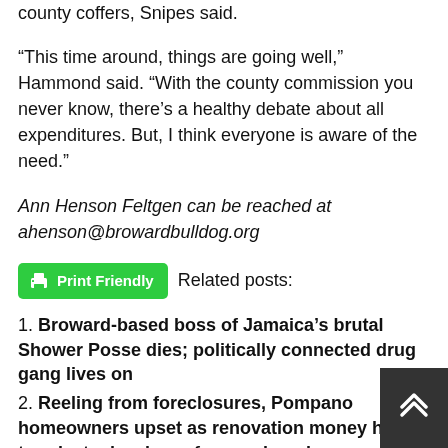county coffers, Snipes said.
“This time around, things are going well,” Hammond said. “With the county commission you never know, there’s a healthy debate about all expenditures. But, I think everyone is aware of the need.”
Ann Henson Feltgen can be reached at ahenson@browardbulldog.org
[Figure (other): Print Friendly button (green) followed by 'Related posts:' text]
1. Broward-based boss of Jamaica’s brutal Shower Posse dies; politically connected drug gang lives on
2. Reeling from foreclosures, Pompano homeowners upset as renovation money heads to private developer for new housing
3. Tough new voting restrictions clamp down in Florida, kicks off Broward...